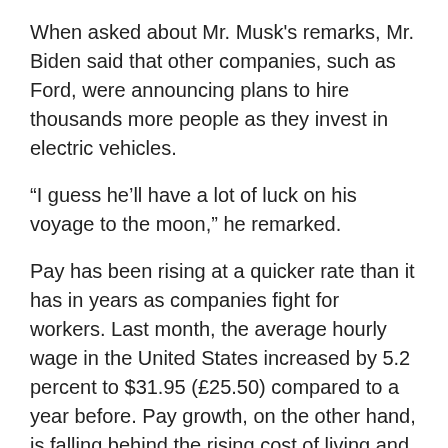When asked about Mr. Musk's remarks, Mr. Biden said that other companies, such as Ford, were announcing plans to hire thousands more people as they invest in electric vehicles.
“I guess he’ll have a lot of luck on his voyage to the moon,” he remarked.
Pay has been rising at a quicker rate than it has in years as companies fight for workers. Last month, the average hourly wage in the United States increased by 5.2 percent to $31.95 (£25.50) compared to a year before. Pay growth, on the other hand, is falling behind the rising cost of living and fell for the second month in a row in May.
To combat inflation, the US Federal Reserve, like other central banks worldwide, is boosting interest rates. Such actions often stifle economic growth by raising borrowing